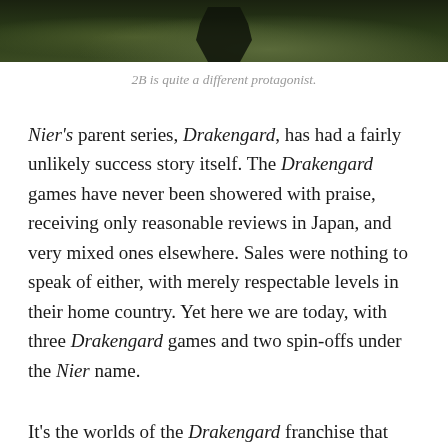[Figure (photo): Partial view of a dark-clothed figure standing outdoors with green foliage in background, cropped at top of page]
2B is quite a different protagonist.
Nier's parent series, Drakengard, has had a fairly unlikely success story itself. The Drakengard games have never been showered with praise, receiving only reasonable reviews in Japan, and very mixed ones elsewhere. Sales were nothing to speak of either, with merely respectable levels in their home country. Yet here we are today, with three Drakengard games and two spin-offs under the Nier name.
It's the worlds of the Drakengard franchise that give its